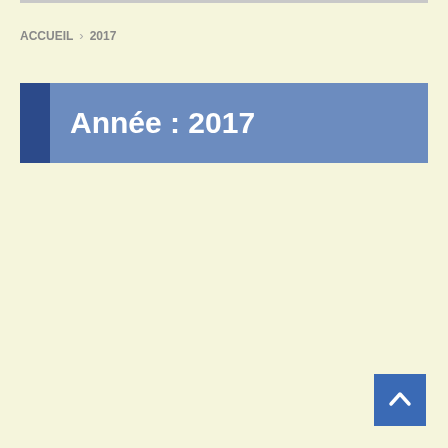ACCUEIL > 2017
Année : 2017
[Figure (other): Back to top button with upward chevron arrow in blue square]